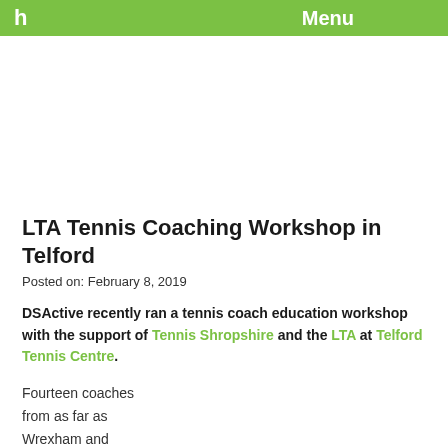h   Menu
LTA Tennis Coaching Workshop in Telford
Posted on: February 8, 2019
DSActive recently ran a tennis coach education workshop with the support of Tennis Shropshire and the LTA at Telford Tennis Centre.
Fourteen coaches from as far as Wrexham and